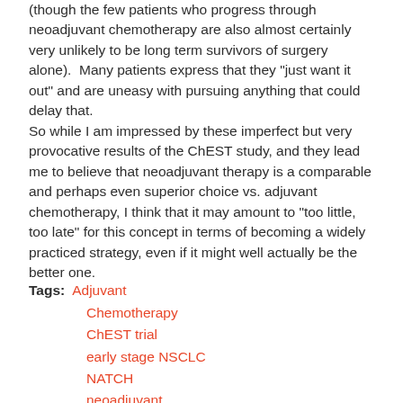(though the few patients who progress through neoadjuvant chemotherapy are also almost certainly very unlikely to be long term survivors of surgery alone).  Many patients express that they "just want it out" and are uneasy with pursuing anything that could delay that.
So while I am impressed by these imperfect but very provocative results of the ChEST study, and they lead me to believe that neoadjuvant therapy is a comparable and perhaps even superior choice vs. adjuvant chemotherapy, I think that it may amount to "too little, too late" for this concept in terms of becoming a widely practiced strategy, even if it might well actually be the better one.
Tags: Adjuvant
Chemotherapy
ChEST trial
early stage NSCLC
NATCH
neoadjuvant
post-operative
pre-operative